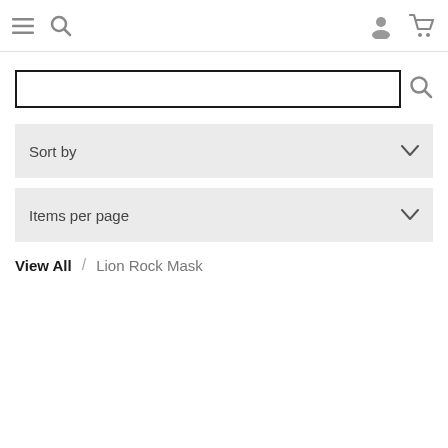Navigation bar with menu, search, user, and cart icons
[Figure (screenshot): Search input field with search button icon]
Sort by
Items per page
View All / Lion Rock Mask